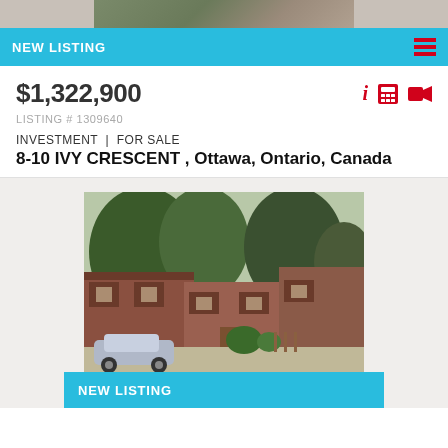[Figure (photo): Partial top photo of property, cropped]
NEW LISTING
$1,322,900
LISTING # 1309640
INVESTMENT | FOR SALE
8-10 IVY CRESCENT , Ottawa, Ontario, Canada
[Figure (photo): Exterior photo of brick residential investment property at 8-10 Ivy Crescent, Ottawa, with trees and a car parked in front]
NEW LISTING